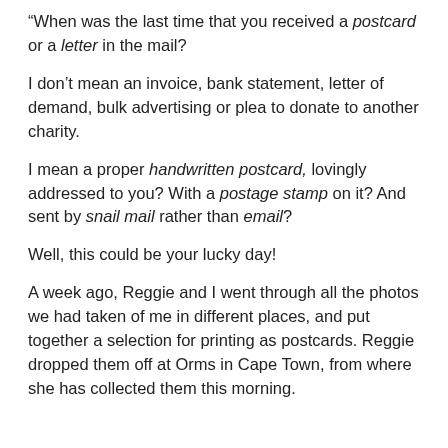“When was the last time that you received a postcard or a letter in the mail?
I don’t mean an invoice, bank statement, letter of demand, bulk advertising or plea to donate to another charity.
I mean a proper handwritten postcard, lovingly addressed to you? With a postage stamp on it? And sent by snail mail rather than email?
Well, this could be your lucky day!
A week ago, Reggie and I went through all the photos we had taken of me in different places, and put together a selection for printing as postcards. Reggie dropped them off at Orms in Cape Town, from where she has collected them this morning.